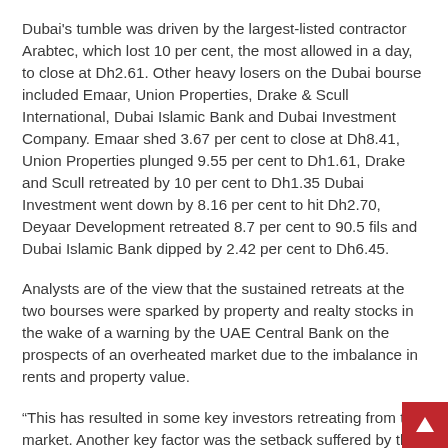Dubai's tumble was driven by the largest-listed contractor Arabtec, which lost 10 per cent, the most allowed in a day, to close at Dh2.61. Other heavy losers on the Dubai bourse included Emaar, Union Properties, Drake & Scull International, Dubai Islamic Bank and Dubai Investment Company. Emaar shed 3.67 per cent to close at Dh8.41, Union Properties plunged 9.55 per cent to Dh1.61, Drake and Scull retreated by 10 per cent to Dh1.35 Dubai Investment went down by 8.16 per cent to hit Dh2.70, Deyaar Development retreated 8.7 per cent to 90.5 fils and Dubai Islamic Bank dipped by 2.42 per cent to Dh6.45.
Analysts are of the view that the sustained retreats at the two bourses were sparked by property and realty stocks in the wake of a warning by the UAE Central Bank on the prospects of an overheated market due to the imbalance in rents and property value.
“This has resulted in some key investors retreating from the market. Another key factor was the setback suffered by the construction giant Arabtec amid the dramatic exit of its chief executive and rumours about the size of the holding in the company by Aabar Investments,” a property